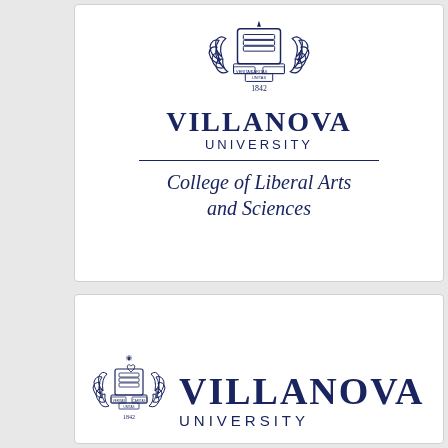[Figure (logo): Villanova University College of Liberal Arts and Sciences logo — vertical stacked layout with seal, 'VILLANOVA UNIVERSITY' text, horizontal rule, and 'College of Liberal Arts and Sciences' in italic]
[Figure (logo): Villanova University horizontal logo — seal on left with 'VILLANOVA UNIVERSITY' text stacked to its right]